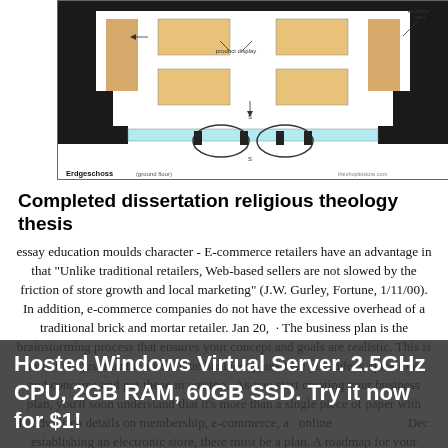[Figure (schematic): Floor plan diagram (Erdgeschoss / ground floor) of a retail store layout showing product display areas, shelving units in black, and display tables in tan/beige color. Labels include 'product display' with arrows and 'Erdgeschoss (ground floor)' at the bottom left. Website URL visible at bottom right.]
Completed dissertation religious theology thesis
essay education moulds character - E-commerce retailers have an advantage in that "Unlike traditional retailers, Web-based sellers are not slowed by the friction of store growth and local marketing" (J.W. Gurley, Fortune, 1/11/00). In addition, e-commerce companies do not have the excessive overhead of a traditional brick and mortar retailer. Jan 20,  · The business plan is the brainstorming process that ensures your concept and goals are realistic. This is more than just mental notes. True business plans take your ideas, questions, and concerns and put those in writing.. As you start creating your business plan, you'll soon understand that it's more than a single piece of paper with handwritten details on membership, e-commerce, a online Dec establishing an electronic store, there must be a plan. A roadmap for your store... With detailed b
Hosted Windows Virtual Server. 2.5GHz CPU, 2GB RAM, 60GB SSD. Try it now for $1!